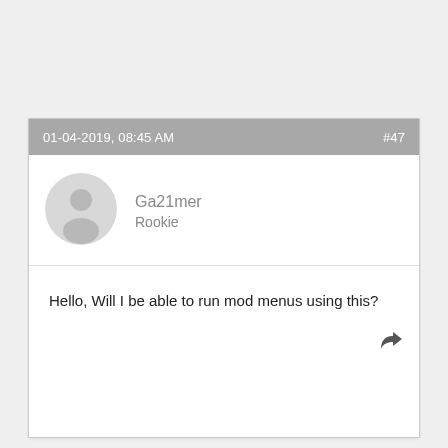01-04-2019, 08:45 AM  #47
[Figure (illustration): Generic user avatar silhouette in light gray circle]
Ga21mer
Rookie
Hello, Will I be able to run mod menus using this?